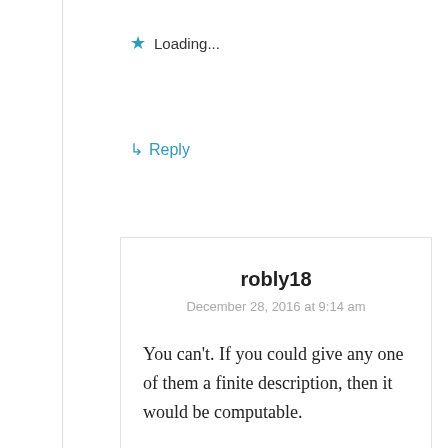Loading...
↳ Reply
robly18
December 28, 2016 at 9:14 am
You can't. If you could give any one of them a finite description, then it would be computable.
[Figure (advertisement): MAC cosmetics advertisement banner showing lipsticks in purple, pink, and red colors with MAC logo and SHOP NOW text box]
Advertisements